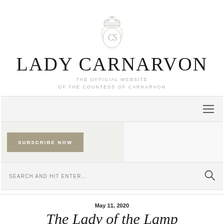[Figure (logo): Lady Carnarvon monogram crest logo — ornate crown above intertwined initials in a circular emblem, rendered in light grey]
LADY CARNARVON
THE OFFICIAL WEBSITE
OF THE COUNTESS OF CARNARVON
[Figure (other): Navigation bar with hamburger menu icon (three horizontal lines) on the right side, light grey background]
[Figure (other): SUBSCRIBE NOW button in khaki/taupe colour on the left panel, and a blank lighter grey panel on the right]
[Figure (other): Search bar with placeholder text SEARCH AND HIT ENTER... and a magnifying glass icon on the right]
May 11, 2020
The Lady of the Lamp